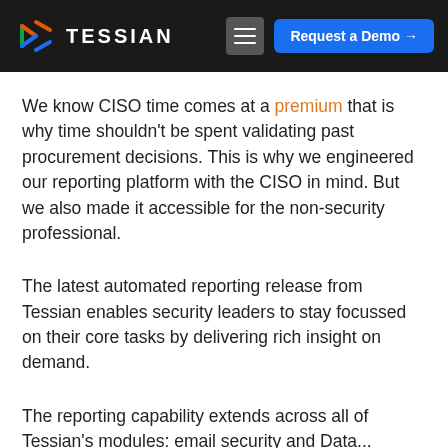TESSIAN | Request a Demo →
We know CISO time comes at a premium that is why time shouldn't be spent validating past procurement decisions. This is why we engineered our reporting platform with the CISO in mind. But we also made it accessible for the non-security professional.
The latest automated reporting release from Tessian enables security leaders to stay focussed on their core tasks by delivering rich insight on demand.
The reporting capability extends across all of Tessian's modules: email security and Data...